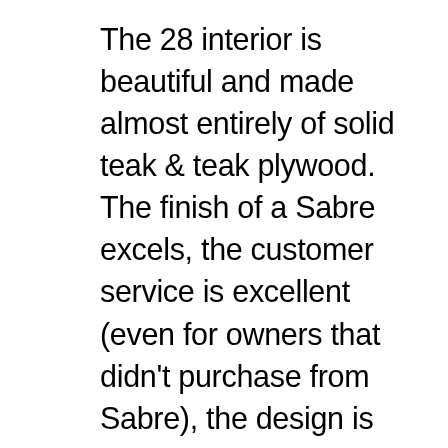The 28 interior is beautiful and made almost entirely of solid teak & teak plywood. The finish of a Sabre excels, the customer service is excellent (even for owners that didn't purchase from Sabre), the design is conservative but not archaic, and the ride is excellent. The World's Best Sailboats (Vol II) by Ferenc Mate profiles Sabre in detail The Sabre 38, designed by Roger Hewson, is different. Best known as the founder of Sabre Yachts, Hewson is underrated as a designer. Several of his boats are considered classics, including his first boat, the much loved Sabre 28. Sabres have aged very well indeed. Even a 25-year-old Sabre 38 exudes a sense of quality and timelessness